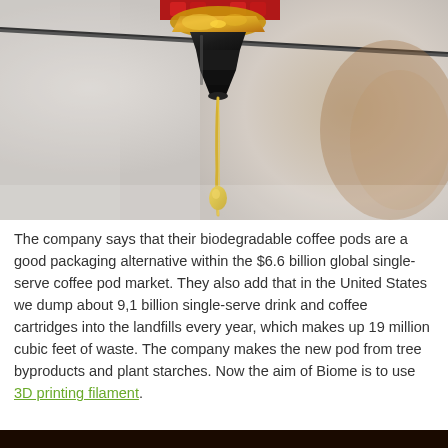[Figure (photo): Close-up macro photograph of a 3D printer nozzle extruding a golden/yellow filament drop. The metal nozzle is at the top with red and gold material visible. A long teardrop of yellow filament hangs below the black nozzle tip against a blurred grey and brown background.]
The company says that their biodegradable coffee pods are a good packaging alternative within the $6.6 billion global single-serve coffee pod market. They also add that in the United States we dump about 9,1 billion single-serve drink and coffee cartridges into the landfills every year, which makes up 19 million cubic feet of waste. The company makes the new pod from tree byproducts and plant starches. Now the aim of Biome is to use 3D printing filament.
[Figure (photo): Partial view of another image at the bottom of the page, showing a dark warm-toned scene.]